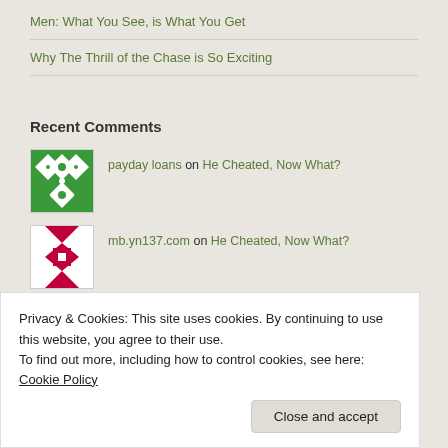Men: What You See, is What You Get
Why The Thrill of the Chase is So Exciting
Recent Comments
payday loans on He Cheated, Now What?
mb.yn137.com on He Cheated, Now What?
harga readymix murah on He Cheated, Now What?
Privacy & Cookies: This site uses cookies. By continuing to use this website, you agree to their use.
To find out more, including how to control cookies, see here: Cookie Policy
Close and accept